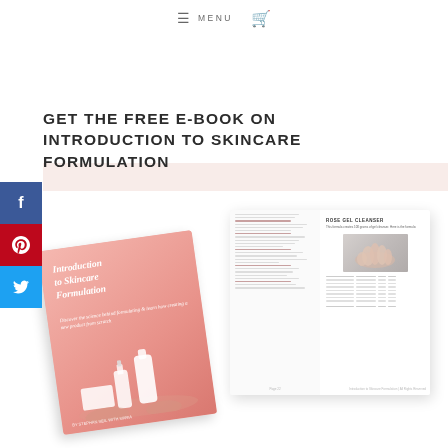≡  MENU  🛒
GET THE FREE E-BOOK ON INTRODUCTION TO SKINCARE FORMULATION
[Figure (photo): Photo of an open book showing 'Introduction to Skincare Formulation' e-book - left side showing the pink cover with skincare bottles illustration, right side showing an open page with text, a hand photo, and a table/ingredient list]
f (Facebook share button)
P (Pinterest share button)
y (Twitter share button)